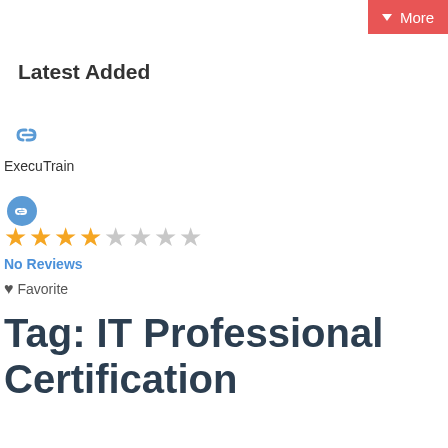More
Latest Added
[Figure (other): Link/chain icon (large, blue)]
ExecuTrain
[Figure (other): Link/chain icon (small, white on blue circle)]
[Figure (other): Star rating: 4 filled gold stars, 4 empty gray stars]
No Reviews
♥ Favorite
Tag: IT Professional Certification